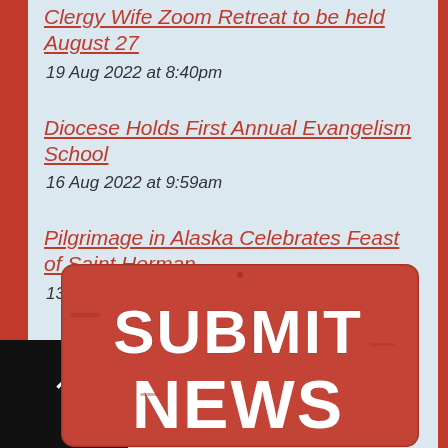Clergy Wife Zoom Retreat to be held August 27
19 Aug 2022 at 8:40pm
Diocese Holds First Annual Evangelism School
16 Aug 2022 at 9:59am
Pilgrimage in Alaska Celebrates Feast of Saint Herman
13 Aug 2022 at 8:46pm
[Figure (photo): Red street-style sign reading SUBMIT NEWS with distressed/worn texture]